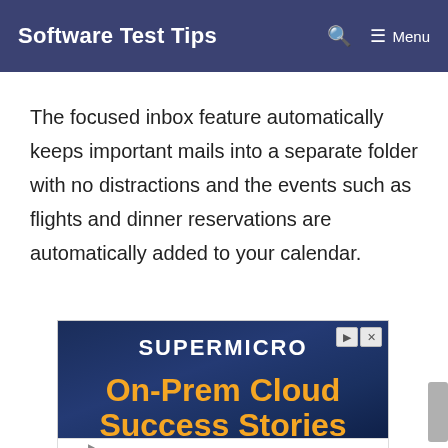Software Test Tips
The focused inbox feature automatically keeps important mails into a separate folder with no distractions and the events such as flights and dinner reservations are automatically added to your calendar.
[Figure (screenshot): Supermicro advertisement banner with text 'SUPERMICRO On-Prem Cloud Success Stories' on a dark blue background with building imagery]
[Figure (screenshot): Bottom advertisement banner showing a logo, checkmarks for 'In-store shopping', 'Curbside pickup', 'Delivery' and a blue diamond arrow icon]